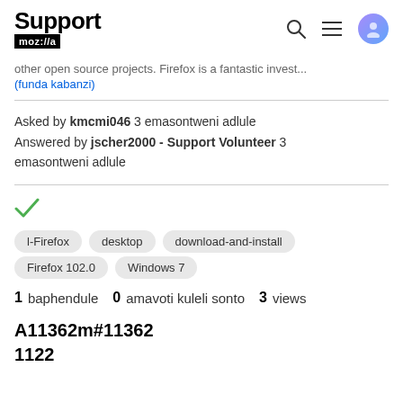Support mozilla // (navigation icons)
other open source projects. Firefox is a fantastic investm...
(funda kabanzi)
Asked by kmcmi046 3 emasontweni adlule
Answered by jscher2000 - Support Volunteer 3 emasontweni adlule
[Figure (other): Green checkmark icon indicating solved/accepted answer]
l-Firefox
desktop
download-and-install
Firefox 102.0
Windows 7
1 baphendule   0 amavoti kuleli sonto   3 views
A11362m#11362
1122